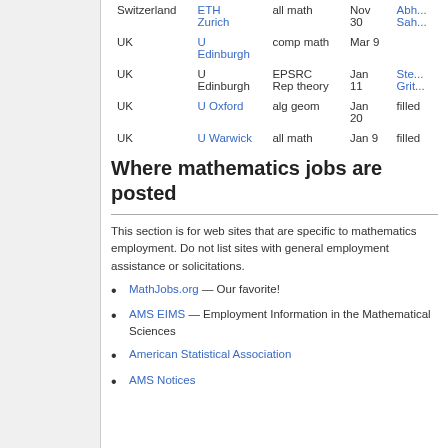| Country | Institution | Field | Deadline | Contact |
| --- | --- | --- | --- | --- |
| Switzerland | ETH Zurich | all math | Nov 30 | Abh... Sah... |
| UK | U Edinburgh | comp math | Mar 9 |  |
| UK | U Edinburgh | EPSRC Rep theory | Jan 11 | Ste... Grit... |
| UK | U Oxford | alg geom | Jan 20 | filled |
| UK | U Warwick | all math | Jan 9 | filled |
Where mathematics jobs are posted
This section is for web sites that are specific to mathematics employment. Do not list sites with general employment assistance or solicitations.
MathJobs.org — Our favorite!
AMS EIMS — Employment Information in the Mathematical Sciences
American Statistical Association
AMS Notices